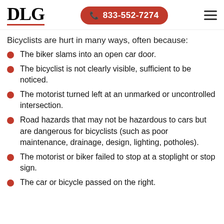DLG | 833-552-7274
Bicyclists are hurt in many ways, often because:
The biker slams into an open car door.
The bicyclist is not clearly visible, sufficient to be noticed.
The motorist turned left at an unmarked or uncontrolled intersection.
Road hazards that may not be hazardous to cars but are dangerous for bicyclists (such as poor maintenance, drainage, design, lighting, potholes).
The motorist or biker failed to stop at a stoplight or stop sign.
The car or bicycle passed on the right.